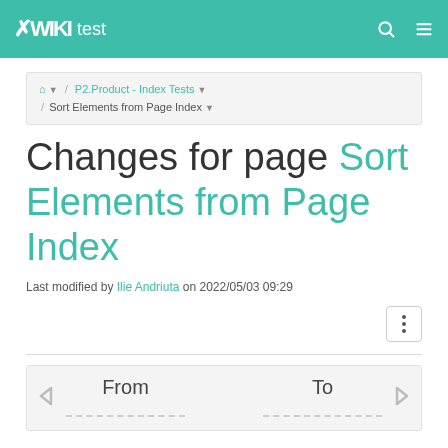XWiki test
🏠 / P2.Product - Index Tests / Sort Elements from Page Index
Changes for page Sort Elements from Page Index
Last modified by Ilie Andriuta on 2022/05/03 09:29
From  To